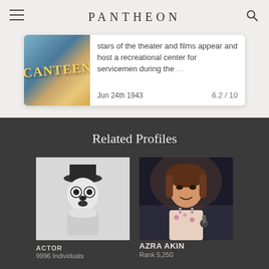PANTHEON
[Figure (screenshot): Canteen movie card showing colorful poster image on left, text describing stars of the theater and films appear and host a recreational center for servicemen during the war, dated Jun 24th 1943 with rating 6.2 / 10]
Related Profiles
[Figure (photo): Black and white photo of an actor dressed as a scarecrow character]
ACTOR
9996 Individuals
[Figure (photo): Color photo of Azra Akin, a smiling woman in a floral dress at an event]
AZRA AKIN
Rank 5,250